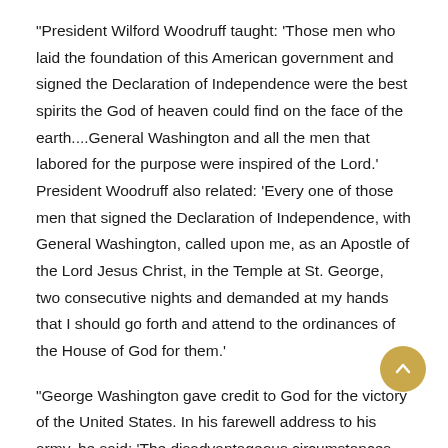"President Wilford Woodruff taught: 'Those men who laid the foundation of this American government and signed the Declaration of Independence were the best spirits the God of heaven could find on the face of the earth....General Washington and all the men that labored for the purpose were inspired of the Lord.' President Woodruff also related: 'Every one of those men that signed the Declaration of Independence, with General Washington, called upon me, as an Apostle of the Lord Jesus Christ, in the Temple at St. George, two consecutive nights and demanded at my hands that I should go forth and attend to the ordinances of the House of God for them.'
"George Washington gave credit to God for the victory of the United States. In his farewell address to his army, he said: 'The disadvantageous circumstances on our part, under which the war was undertaken, can never be forgotten. The singular